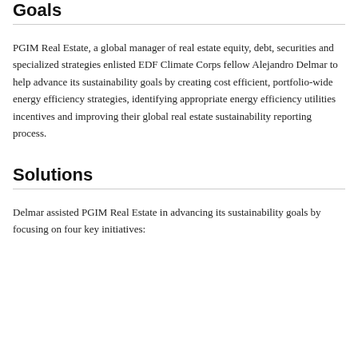Goals
PGIM Real Estate, a global manager of real estate equity, debt, securities and specialized strategies enlisted EDF Climate Corps fellow Alejandro Delmar to help advance its sustainability goals by creating cost efficient, portfolio-wide energy efficiency strategies, identifying appropriate energy efficiency utilities incentives and improving their global real estate sustainability reporting process.
Solutions
Delmar assisted PGIM Real Estate in advancing its sustainability goals by focusing on four key initiatives: